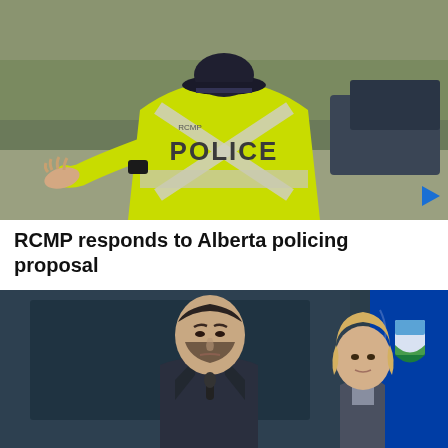[Figure (photo): An RCMP officer from behind wearing a bright yellow-green high-visibility jacket with POLICE written on the back in large letters and reflective X-pattern stripes, wearing a dark cap, with arm extended outward. Background shows blurred trees and a vehicle.]
RCMP responds to Alberta policing proposal
[Figure (photo): A man in a dark suit standing at a podium with a microphone, looking serious. A woman with blonde hair stands partially visible to his right. An Alberta provincial flag is visible in the background along with a dark painting.]